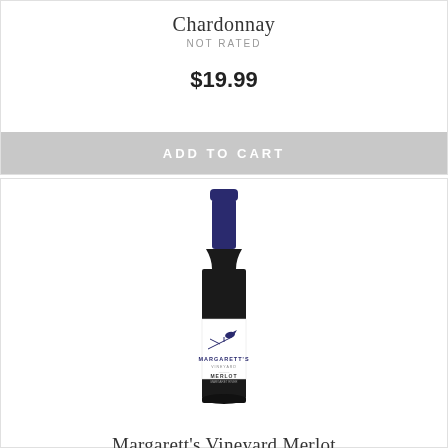Chardonnay
NOT RATED
$19.99
ADD TO CART
[Figure (photo): Wine bottle with dark glass and blue capsule top, white label reading MARGARETT'S VINEYARD MERLOT with a bird on a branch illustration]
Margarett's Vineyard Merlot
NOT RATED